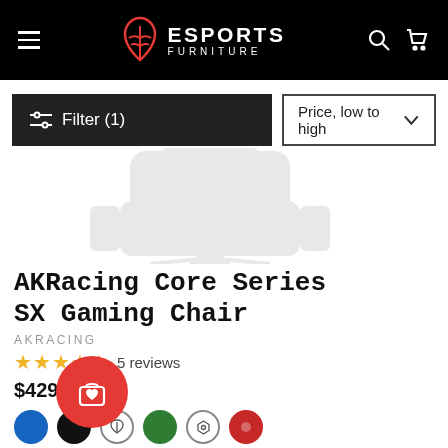Esports Furniture — navigation header with hamburger menu, logo, search and cart icons
Filter (1)
Price, low to high
[Figure (illustration): Faded/watermark ghost image of a gaming chair in light gray]
AKRacing Core Series SX Gaming Chair
AKRACING
★★★★★ 5 reviews
$429.00
[Figure (illustration): Six color swatch circles: blue, black, tree/brown, green, shield/gray, red]
[Figure (illustration): Red circular floating action button with shopping bag and heart icon]